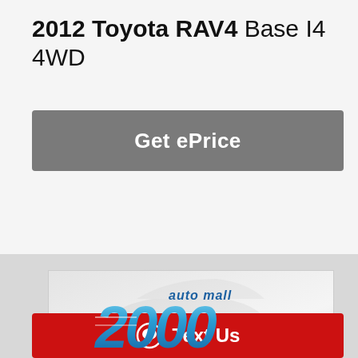2012 Toyota RAV4 Base I4 4WD
Get ePrice
[Figure (logo): Auto Mall 2000 dealership logo with 'PHOTOS COMING SOON' banner below on a dark blue background. Faint car silhouette watermark in background.]
Text Us